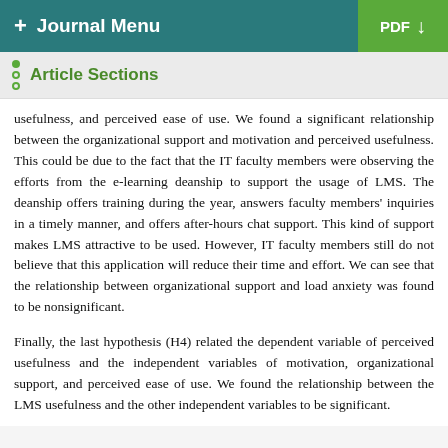+ Journal Menu | PDF
Article Sections
usefulness, and perceived ease of use. We found a significant relationship between the organizational support and motivation and perceived usefulness. This could be due to the fact that the IT faculty members were observing the efforts from the e-learning deanship to support the usage of LMS. The deanship offers training during the year, answers faculty members' inquiries in a timely manner, and offers after-hours chat support. This kind of support makes LMS attractive to be used. However, IT faculty members still do not believe that this application will reduce their time and effort. We can see that the relationship between organizational support and load anxiety was found to be nonsignificant.
Finally, the last hypothesis (H4) related the dependent variable of perceived usefulness and the independent variables of motivation, organizational support, and perceived ease of use. We found the relationship between the LMS usefulness and the other independent variables to be significant.